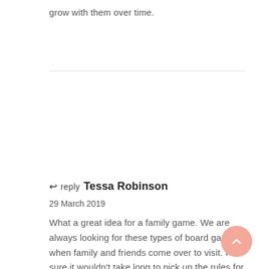grow with them over time.
reply  Tessa Robinson
29 March 2019
What a great idea for a family game. We are always looking for these types of board games when family and friends come over to visit. I'm sure it wouldn't take long to pick up the rules for both of these as well which is fab.